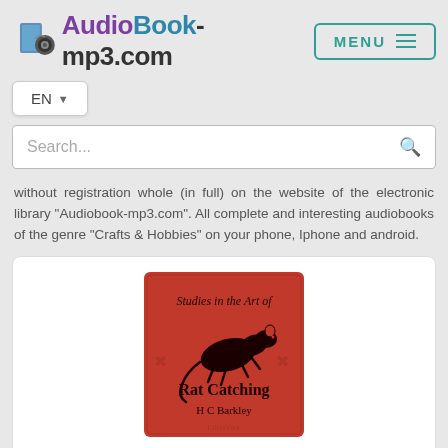AudioBook-mp3.com | MENU
EN
Search...
without registration whole (in full) on the website of the electronic library "Audiobook-mp3.com". All complete and interesting audiobooks of the genre "Crafts & Hobbies" on your phone, Iphone and android.
[Figure (illustration): Book cover for Studies in the Art of Rat Catching by H C Barkley - red cover with black rat illustration]
Henry C. Barkley - Studies in the Art of Rat-Catching
FICTIONAL BIOGRAPHIES & MEMOIRS, CRAFTS & HOBBIES, 21-11-2019